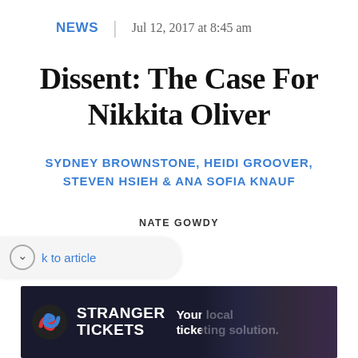NEWS | Jul 12, 2017 at 8:45 am
Dissent: The Case For Nikkita Oliver
SYDNEY BROWNSTONE, HEIDI GROOVER, STEVEN HSIEH & ANA SOFIA KNAUF
NATE GOWDY
k to article
[Figure (other): Stranger Tickets advertisement banner with logo, text 'STRANGER TICKETS' and 'Your local ticketing solution.' over a dark concert crowd background]